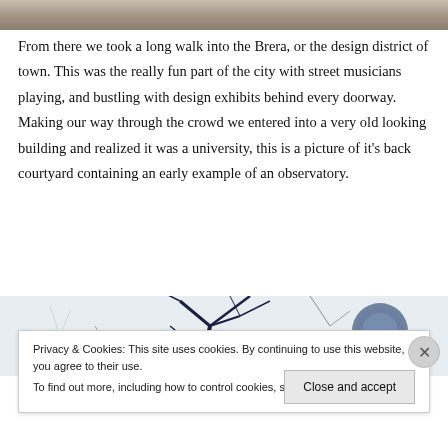[Figure (photo): Top strip of a photo, appears to be a ground/pavement texture, grayish-brown tones]
From there we took a long walk into the Brera, or the design district of town. This was the really fun part of the city with street musicians playing, and bustling with design exhibits behind every doorway. Making our way through the crowd we entered into a very old looking building and realized it was a university, this is a picture of it's back courtyard containing an early example of an observatory.
[Figure (photo): Partial photo showing bare tree branches in dark ink against a pale/white background, with what appears to be a spherical object on the right (possibly the observatory dome)]
Privacy & Cookies: This site uses cookies. By continuing to use this website, you agree to their use.
To find out more, including how to control cookies, see here: Cookie Policy
Close and accept